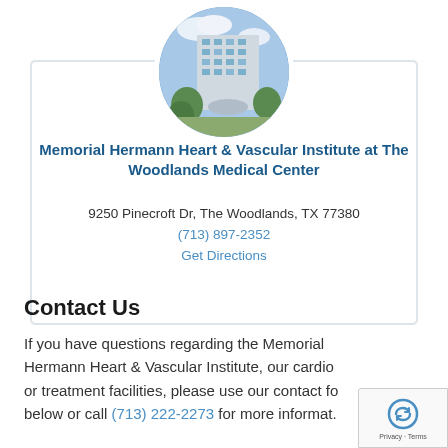[Figure (photo): Circular cropped photo of Memorial Hermann hospital building exterior — multi-story modern building with glass facade, trees in foreground, blue sky with clouds]
Memorial Hermann Heart & Vascular Institute at The Woodlands Medical Center
9250 Pinecroft Dr, The Woodlands, TX 77380
(713) 897-2352
Get Directions
Contact Us
If you have questions regarding the Memorial Hermann Heart & Vascular Institute, our cardio or treatment facilities, please use our contact fo below or call (713) 222-2273 for more informat.